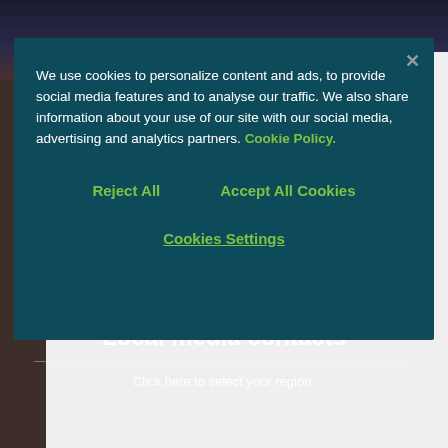[Figure (photo): Photo of Paul McDonald, Senior Executive Director at Robert Half, shown in a dark suit against a dark background]
Paul McDonald, Senior Executive Director at Robert Half
We use cookies to personalize content and ads, to provide social media features and to analyse our traffic. We also share information about your use of our site with our social media, advertising and analytics partners. Cookie Policy.
Reject All
Accept All Cookies
Cookies Settings
lisa.amstutz@roberthalf.com
Local media contacts
Click here to select your region.